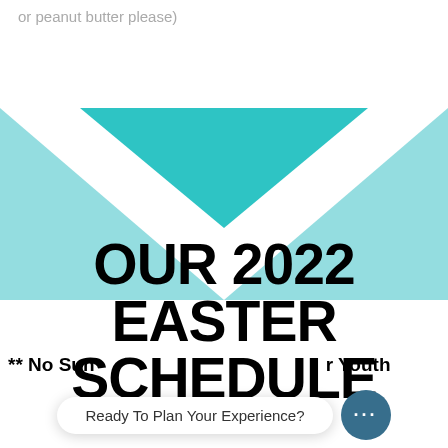or peanut butter please)
[Figure (illustration): Teal/turquoise X-shaped crossed triangles graphic design element on white background]
OUR 2022 EASTER SCHEDULE
** No Sunday School for Children or Youth
Ready To Plan Your Experience?